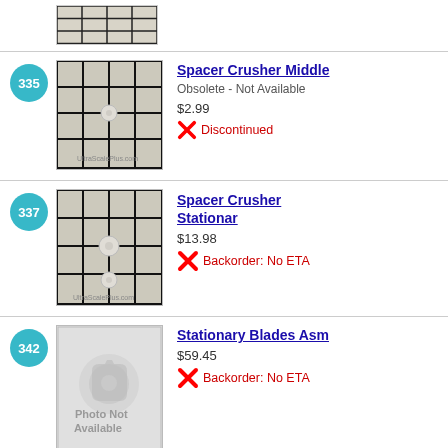[Figure (photo): Partial product image at top of page, cropped grid pattern tile]
335 - Spacer Crusher Middle - Obsolete - Not Available - $2.99 - Discontinued
337 - Spacer Crusher Stationar - $13.98 - Backorder: No ETA
342 - Stationary Blades Asm - $59.45 - Backorder: No ETA